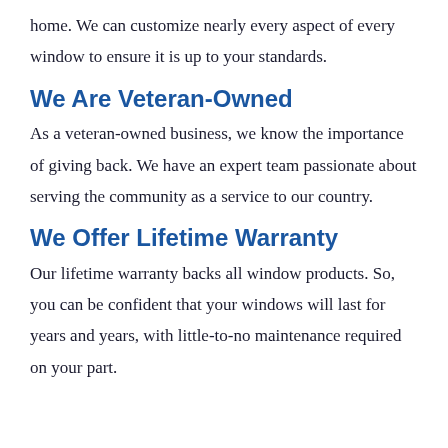home. We can customize nearly every aspect of every window to ensure it is up to your standards.
We Are Veteran-Owned
As a veteran-owned business, we know the importance of giving back. We have an expert team passionate about serving the community as a service to our country.
We Offer Lifetime Warranty
Our lifetime warranty backs all window products. So, you can be confident that your windows will last for years and years, with little-to-no maintenance required on your part.